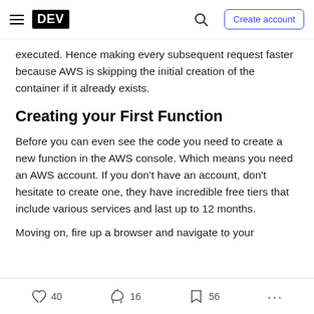DEV — Create account
executed. Hence making every subsequent request faster because AWS is skipping the initial creation of the container if it already exists.
Creating your First Function
Before you can even see the code you need to create a new function in the AWS console. Which means you need an AWS account. If you don't have an account, don't hesitate to create one, they have incredible free tiers that include various services and last up to 12 months.
Moving on, fire up a browser and navigate to your
40  16  56  ...